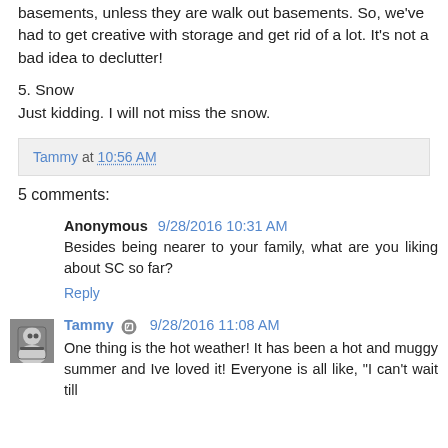basements, unless they are walk out basements. So, we've had to get creative with storage and get rid of a lot. It's not a bad idea to declutter!
5. Snow
Just kidding. I will not miss the snow.
Tammy at 10:56 AM
5 comments:
Anonymous 9/28/2016 10:31 AM
Besides being nearer to your family, what are you liking about SC so far?
Reply
Tammy 9/28/2016 11:08 AM
One thing is the hot weather! It has been a hot and muggy summer and Ive loved it! Everyone is all like "I cant wait till